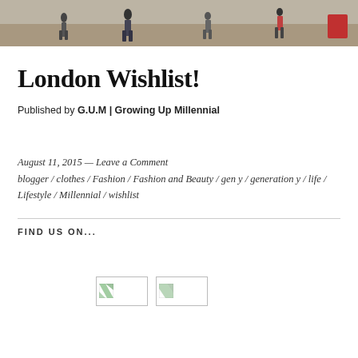[Figure (photo): Street scene photo banner showing people walking on a street, partial view at top of page]
London Wishlist!
Published by G.U.M | Growing Up Millennial
August 11, 2015 — Leave a Comment
blogger / clothes / Fashion / Fashion and Beauty / gen y / generation y / life / Lifestyle / Millennial / wishlist
FIND US ON...
[Figure (other): Two small social media icon placeholder images]